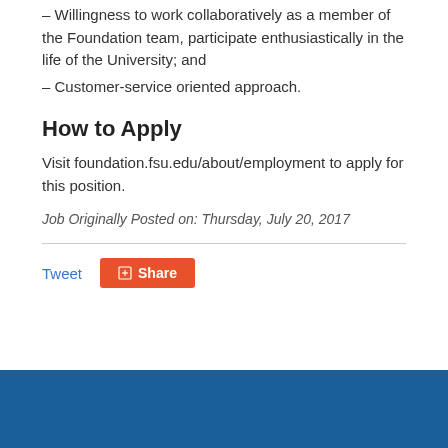– Willingness to work collaboratively as a member of the Foundation team, participate enthusiastically in the life of the University; and
– Customer-service oriented approach.
How to Apply
Visit foundation.fsu.edu/about/employment to apply for this position.
Job Originally Posted on: Thursday, July 20, 2017
Tweet  Share